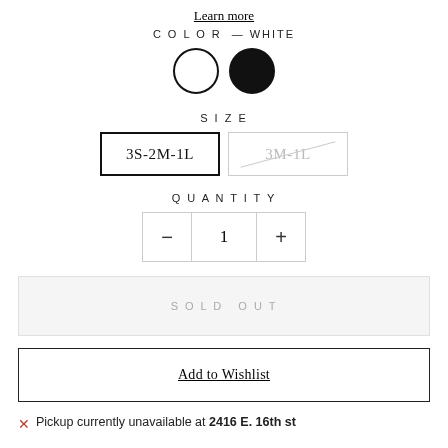Learn more
COLOR — WHITE
[Figure (illustration): Two color swatches: a white circle with black border (selected) and a solid black circle]
SIZE
3S-2M-1L (selected size button) and 3M-1L (disabled/strikethrough size button)
QUANTITY
- 1 +
SOLD OUT
Add to Wishlist
Pickup currently unavailable at 2416 E. 16th st